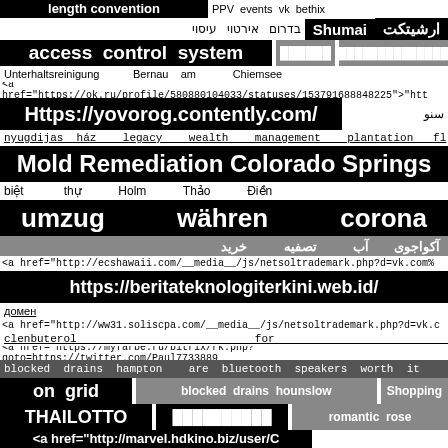length convention   PPV events   vk bethix
בדרום   אירטוי   עיסוי   Shumai   ارشیتکت
access control system   ██████   ████████████████
Unterhaltsreinigung   Bernau am Chiemsee
<a href="https://ok.ru/profile/580880104033/statuses/153791688848225">"htt
Https://yovorog.contently.com/   سنو
nyugdijas ház   legacy wealth management plantation fl
Mold Remediation Colorado Springs
biệt thự Holm Thảo Điền
umzug   währen   corona
خرید   تصفیه   آب   آکواجوی
<a href="http://ecshawaii.com/__media__/js/netsoltrademark.php?d=vk.com%
https://beritateknologiterkini.web.id/
домен
<a href="http://ww31.soliscpa.com/__media__/js/netsoltrademark.php?d=vk.c
clenbuterol   for   sale
<a href="https://myfarbe.ru/bitrix/rk.php?goto=https://twitter.com/Paul7733889
blocked drains hampton   are bluetooth speakers worth it
on grid   blocked drains hounslow   Shopping
THAILOTTO   ██████████   romantic rose
<a href="http://marvel.hdkino.biz/user/C
<a href="http://rightreviews.in/rent-gpus-3/">"http://rightreviews.in/rent-gpus-3